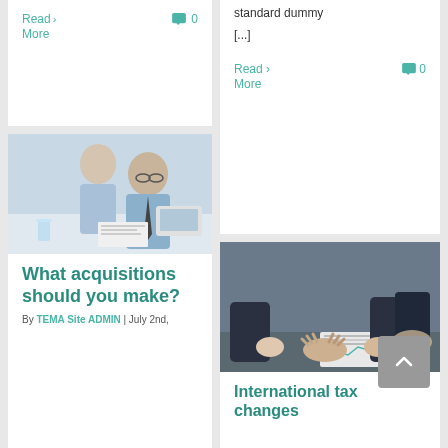Read More >
0 comments
standard dummy [...]
Read More > 0
[Figure (photo): Two business professionals, a woman and a man with glasses, looking at documents at a desk with a laptop]
What acquisitions should you make?
By TEMA Site ADMIN | July 2nd,
[Figure (photo): Two businesspeople in suits shaking hands over documents on a table]
International tax changes